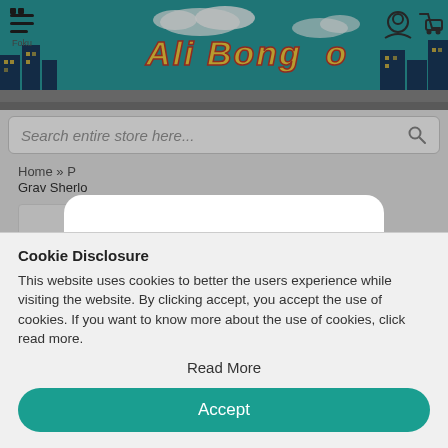[Figure (screenshot): Ali Bongo e-commerce website header with teal/cityscape banner and Ali Bongo logo text in yellow italic font]
[Figure (screenshot): Search bar with placeholder text 'Search entire store here...' and magnifier icon]
Home » P
Grav Sherlo
[Figure (logo): Ali Bongo logo — yellow bubble letters with red bong illustration]
Ali Bongo requires you to be at least 18
Cookie Disclosure
This website uses cookies to better the users experience while visiting the website. By clicking accept, you accept the use of cookies. If you want to know more about the use of cookies, click read more.
Read More
Accept